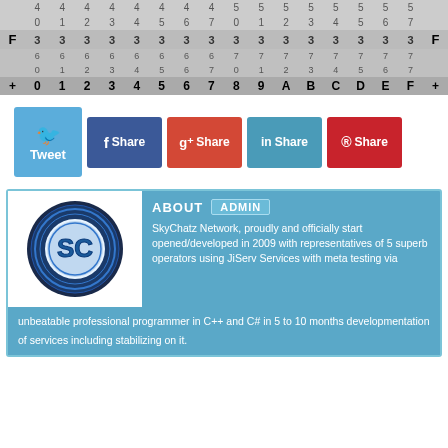|  | 40 | 41 | 42 | 43 | 44 | 45 | 46 | 47 | 50 | 51 | 52 | 53 | 54 | 55 | 56 | 57 |  |
| --- | --- | --- | --- | --- | --- | --- | --- | --- | --- | --- | --- | --- | --- | --- | --- | --- | --- |
| F | 360 | 361 | 362 | 363 | 364 | 365 | 366 | 367 | 370 | 371 | 372 | 373 | 374 | 375 | 376 | 377 | F |
|  |  |  |  |  |  |  |  |  |  |  |  |  |  |  |  |  |  |
| + | 0 | 1 | 2 | 3 | 4 | 5 | 6 | 7 | 8 | 9 | A | B | C | D | E | F | + |
[Figure (infographic): Social sharing buttons: Tweet (Twitter/blue), Share (Facebook/dark blue), Share (Google+/red), Share (LinkedIn/teal), Share (Pinterest/red)]
[Figure (infographic): About section with SkyChatz logo (blue SC circular logo) and admin description]
SkyChatz Network, proudly and officially start opened/developed in 2009 with representatives of 5 superb operators using JiServ Services with meta testing via unbeatable professional programmer in C++ and C# in 5 to 10 months developmentation of services including stabilizing on it.